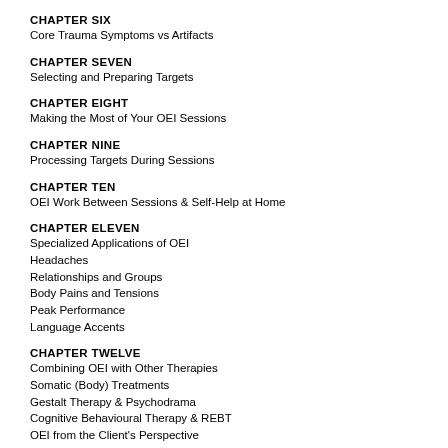CHAPTER SIX
Core Trauma Symptoms vs Artifacts
CHAPTER SEVEN
Selecting and Preparing Targets
CHAPTER EIGHT
Making the Most of Your OEI Sessions
CHAPTER NINE
Processing Targets During Sessions
CHAPTER TEN
OEI Work Between Sessions & Self-Help at Home
CHAPTER ELEVEN
Specialized Applications of OEI
Headaches
Relationships and Groups
Body Pains and Tensions
Peak Performance
Language Accents
CHAPTER TWELVE
Combining OEI with Other Therapies
Somatic (Body) Treatments
Gestalt Therapy & Psychodrama
Cognitive Behavioural Therapy & REBT
OEI from the Client's Perspective
About the Authors:
Dr. Rick Bradshaw has completed Level II EMDR training, and 5 years. Until August 1998 he had been employed for 10 years